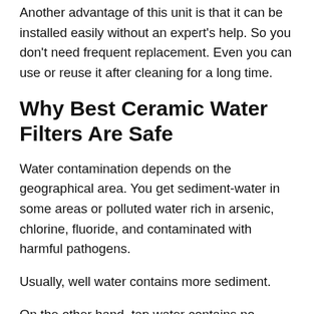Another advantage of this unit is that it can be installed easily without an expert's help. So you don't need frequent replacement. Even you can use or reuse it after cleaning for a long time.
Why Best Ceramic Water Filters Are Safe
Water contamination depends on the geographical area. You get sediment-water in some areas or polluted water rich in arsenic, chlorine, fluoride, and contaminated with harmful pathogens.
Usually, well water contains more sediment.
On the other hand, tap water contains no harmful substance unless the water mixes with contamination by a broken